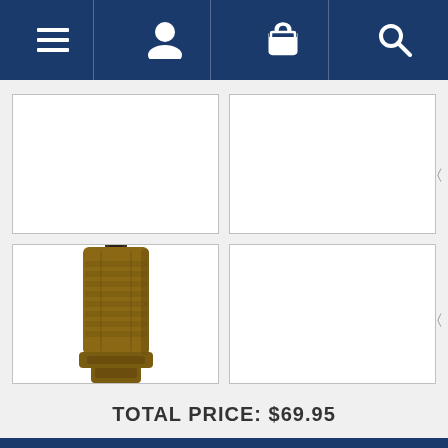[Figure (screenshot): Navigation bar with menu (hamburger), user/account, shopping cart, and search icons on dark navy background]
[Figure (photo): Product image gallery grid: top-left empty white box, top-right empty white box, bottom-left shows a coyote/tan MOLLE tactical magazine pouch product photo, bottom-right empty white box. Navigation arrows visible between columns.]
TOTAL PRICE: $69.95
[Figure (screenshot): Dark navy bottom bar stripe]